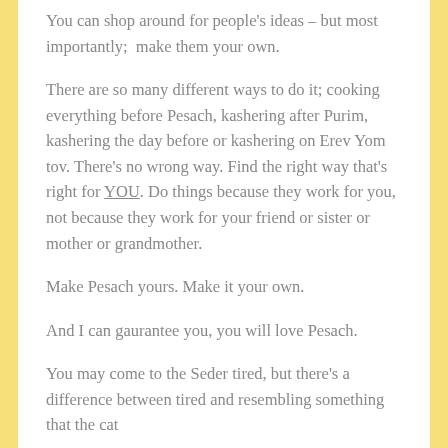You can shop around for people's ideas – but most importantly;  make them your own.
There are so many different ways to do it; cooking everything before Pesach, kashering after Purim, kashering the day before or kashering on Erev Yom tov. There's no wrong way. Find the right way that's right for YOU. Do things because they work for you, not because they work for your friend or sister or mother or grandmother.
Make Pesach yours. Make it your own.
And I can gaurantee you, you will love Pesach.
You may come to the Seder tired, but there's a difference between tired and resembling something that the cat